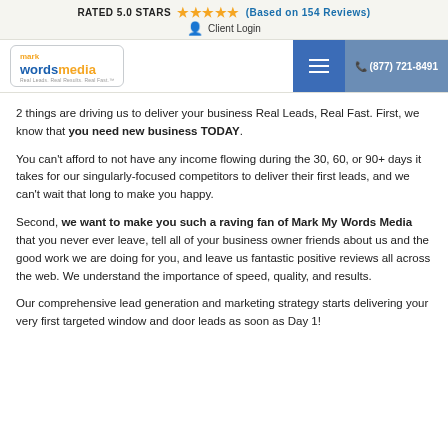RATED 5.0 STARS (Based on 154 Reviews) | Client Login
[Figure (logo): Mark My Words Media logo with navigation bar including hamburger menu and phone number (877) 721-8491]
2 things are driving us to deliver your business Real Leads, Real Fast. First, we know that you need new business TODAY.
You can't afford to not have any income flowing during the 30, 60, or 90+ days it takes for our singularly-focused competitors to deliver their first leads, and we can't wait that long to make you happy.
Second, we want to make you such a raving fan of Mark My Words Media that you never ever leave, tell all of your business owner friends about us and the good work we are doing for you, and leave us fantastic positive reviews all across the web. We understand the importance of speed, quality, and results.
Our comprehensive lead generation and marketing strategy starts delivering your very first targeted window and door leads as soon as Day 1!